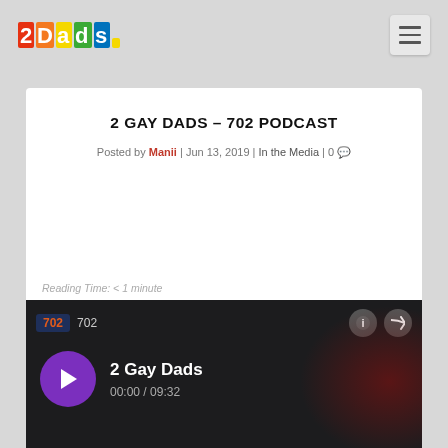2Dads logo and navigation menu
2 GAY DADS – 702 PODCAST
Posted by Manii | Jun 13, 2019 | In the Media | 0
Reading Time: < 1 minute
[Figure (screenshot): 702 podcast player widget showing '2 Gay Dads' episode with play button, time 00:00 / 09:32, and station logo]